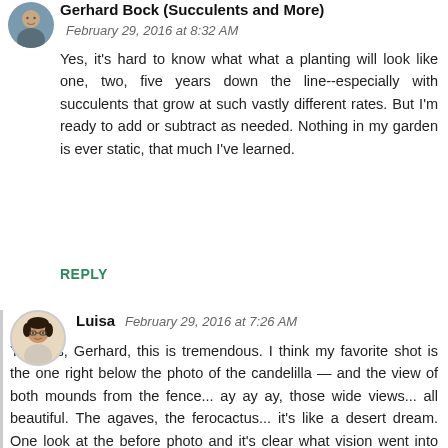[Figure (photo): Circular avatar photo of Gerhard Bock, a man in a grey jacket]
Gerhard Bock (Succulents and More)
February 29, 2016 at 8:32 AM
Yes, it's hard to know what what a planting will look like one, two, five years down the line--especially with succulents that grow at such vastly different rates. But I'm ready to add or subtract as needed. Nothing in my garden is ever static, that much I've learned.
REPLY
[Figure (illustration): Circular avatar illustration of Luisa, a cartoon person with glasses]
Luisa
February 29, 2016 at 7:26 AM
Ye gods, Gerhard, this is tremendous. I think my favorite shot is the one right below the photo of the candelilla — and the view of both mounds from the fence... ay ay ay, those wide views... all beautiful. The agaves, the ferocactus... it's like a desert dream. One look at the before photo and it's clear what vision went into this project. The garden of a discerning, desert-loving plantsman, for sure. It will look even better as everything settles in and matures. My potted prisoners are green with envy. A question: